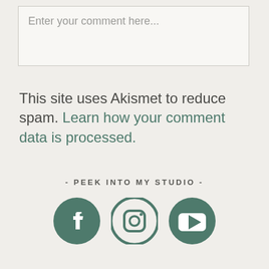Enter your comment here...
This site uses Akismet to reduce spam. Learn how your comment data is processed.
- PEEK INTO MY STUDIO -
[Figure (illustration): Three social media icons: Facebook, Instagram, and YouTube, rendered as circular/rounded-square icons in dark teal/green color.]